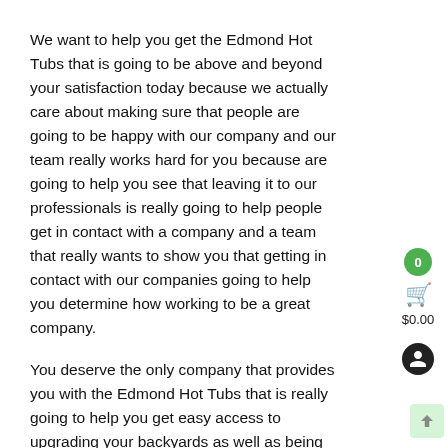We want to help you get the Edmond Hot Tubs that is going to be above and beyond your satisfaction today because we actually care about making sure that people are going to be happy with our company and our team really works hard for you because are going to help you see that leaving it to our professionals is really going to help people get in contact with a company and a team that really wants to show you that getting in contact with our companies going to help you determine how working to be a great company.
You deserve the only company that provides you with the Edmond Hot Tubs that is really going to help you get easy access to upgrading your backyards as well as being able to help you see that if you’re looking for the top companies and you’re going to be happy to see that are companies really going to make it happen for you today because the care about how a company how team can make sure that when you’re looking for a better company that you’re going to be happy with mine that are companies going to be the best option for you today.
There’s no other assets can it be able to give you a better service